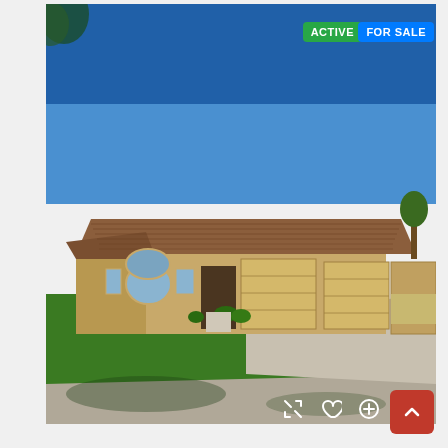[Figure (photo): Exterior photo of a single-story ranch-style home with a brown tile roof, tan/beige stucco walls, large front lawn, three-car garage, concrete driveway, and clear blue sky. ACTIVE and FOR SALE badges in upper right. UI icons (expand, heart, add) and a red scroll-to-top button in the lower right.]